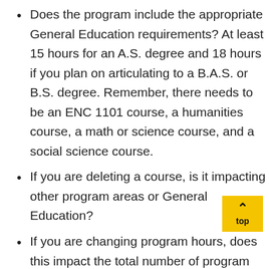Does the program include the appropriate General Education requirements? At least 15 hours for an A.S. degree and 18 hours if you plan on articulating to a B.A.S. or B.S. degree. Remember, there needs to be an ENC 1101 course, a humanities course, a math or science course, and a social science course.
If you are deleting a course, is it impacting other program areas or General Education?
If you are changing program hours, does this impact the total number of program hours? Remember, this is assigned by the State and cannot